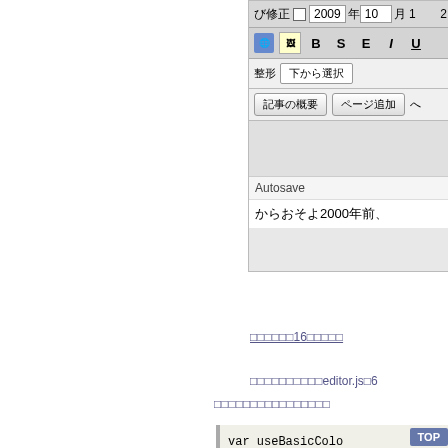[Figure (screenshot): Wikipedia Japanese editor interface screenshot showing toolbar with date 2009年10月12, formatting buttons (B, S, E, I, U), 整形/下から選択 dropdown, 記事の概要/ページ追加 buttons, grey content area, Autosave label, and partial Japanese text からおそよ2000年前、]
□□□□□□16□□□□□
□□□□□□□□□□□editor.js□6
□□□□□□□□□□□□□□□□
var useBasicColo
false(□□□□0)□□□□□□□□□□